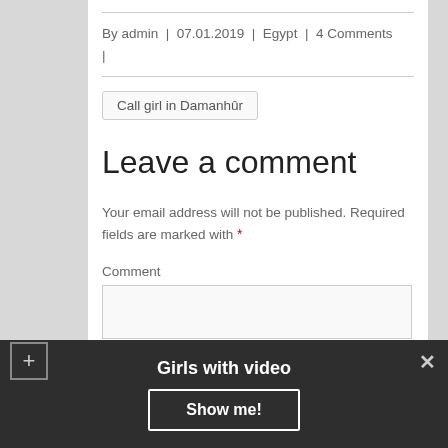By admin | 07.01.2019 | Egypt | 4 Comments |
Call girl in Damanhûr
Leave a comment
Your email address will not be published. Required fields are marked with *
Comment
Girls with video
Show me!